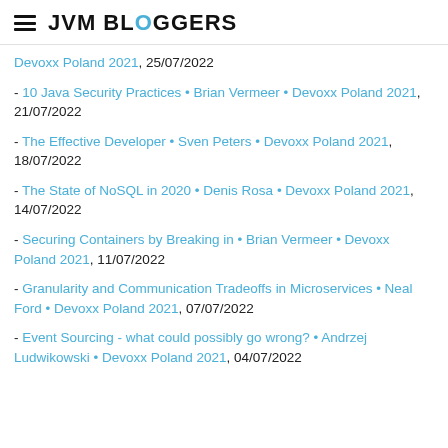JVM BLOGGERS
Devoxx Poland 2021, 25/07/2022
10 Java Security Practices • Brian Vermeer • Devoxx Poland 2021, 21/07/2022
The Effective Developer • Sven Peters • Devoxx Poland 2021, 18/07/2022
The State of NoSQL in 2020 • Denis Rosa • Devoxx Poland 2021, 14/07/2022
Securing Containers by Breaking in • Brian Vermeer • Devoxx Poland 2021, 11/07/2022
Granularity and Communication Tradeoffs in Microservices • Neal Ford • Devoxx Poland 2021, 07/07/2022
Event Sourcing - what could possibly go wrong? • Andrzej Ludwikowski • Devoxx Poland 2021, 04/07/2022